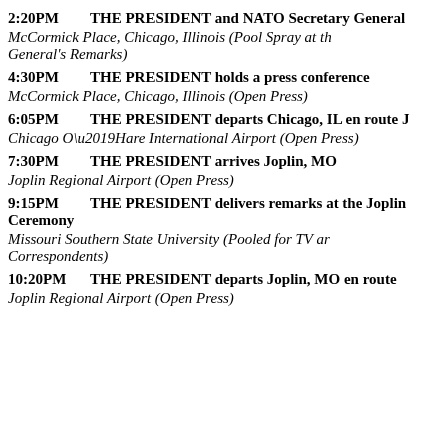2:20PM  THE PRESIDENT and NATO Secretary General
McCormick Place, Chicago, Illinois (Pool Spray at the Secretary General's Remarks)
4:30PM  THE PRESIDENT holds a press conference
McCormick Place, Chicago, Illinois (Open Press)
6:05PM  THE PRESIDENT departs Chicago, IL en route J
Chicago O'Hare International Airport (Open Press)
7:30PM  THE PRESIDENT arrives Joplin, MO
Joplin Regional Airport (Open Press)
9:15PM  THE PRESIDENT delivers remarks at the Joplin Ceremony
Missouri Southern State University (Pooled for TV and Correspondents)
10:20PM  THE PRESIDENT departs Joplin, MO en route
Joplin Regional Airport (Open Press)